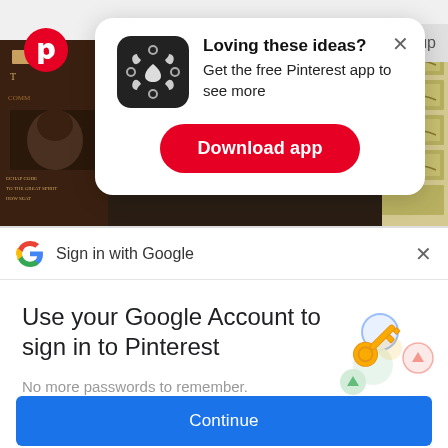[Figure (screenshot): Pinterest app promotional modal popup over a background showing book cover images. White rounded card with Pinterest decorative icon, bold title 'Loving these ideas?', subtitle text, and red Download app button. Pinterest logo (red circle with P) in top left corner. Partially visible 'up' button in top right.]
Loving these ideas?
Get the free Pinterest app to see more
Download app
[Figure (screenshot): Google Sign in with Google bar with Google G logo and X close button]
Sign in with Google
Use your Google Account to sign in to Pinterest
No more passwords to remember.
Signing in is fast, simple and secure.
[Figure (illustration): Colorful key illustration with circular shapes in blue, green, yellow, and pink representing Google account security]
Continue